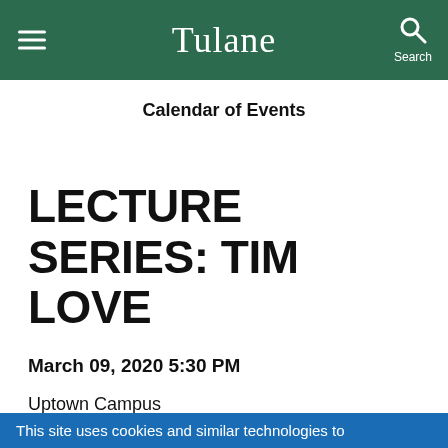Tulane
Calendar of Events
LECTURE SERIES: TIM LOVE
March 09, 2020 5:30 PM
Uptown Campus
Richardson Memorial Hall
Room 201
This site uses cookies and similar technologies to